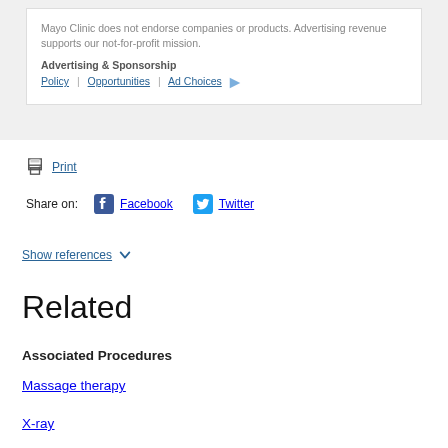Mayo Clinic does not endorse companies or products. Advertising revenue supports our not-for-profit mission.
Advertising & Sponsorship
Policy | Opportunities | Ad Choices
Print
Share on: Facebook Twitter
Show references
Related
Associated Procedures
Massage therapy
X-ray